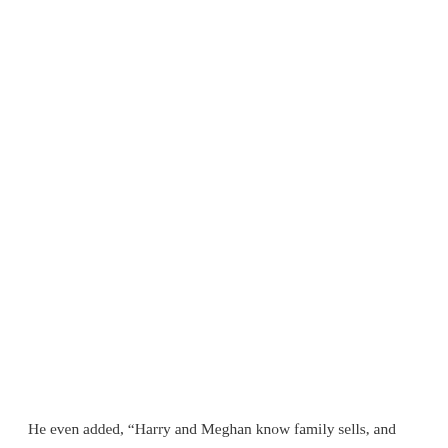He even added, “Harry and Meghan know family sells, and